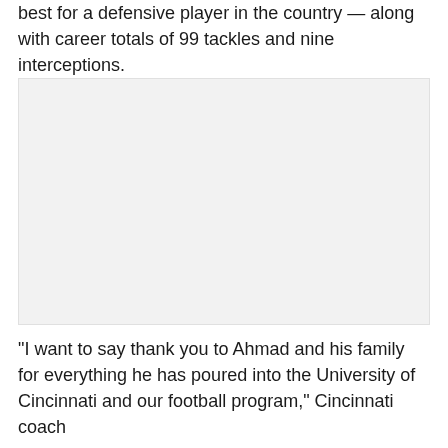best for a defensive player in the country — along with career totals of 99 tackles and nine interceptions.
[Figure (photo): A photograph placeholder (white/light gray box) representing an image of a football player or related subject.]
“I want to say thank you to Ahmad and his family for everything he has poured into the University of Cincinnati and our football program,” Cincinnati coach